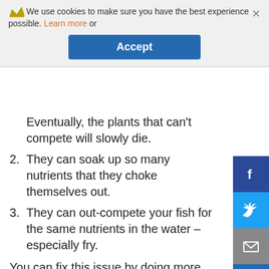We use cookies to make sure you have the best experience possible. Learn more or Accept
Eventually, the plants that can't compete will slowly die.
2. They can soak up so many nutrients that they choke themselves out.
3. They can out-compete your fish for the same nutrients in the water – especially fry.
You can fix this issue by doing more water changes to replace nutrients or you can add fertilizers to the water to similarly replace nutrients. Although, both methods will require some tinkering and fine-tuning to get right.